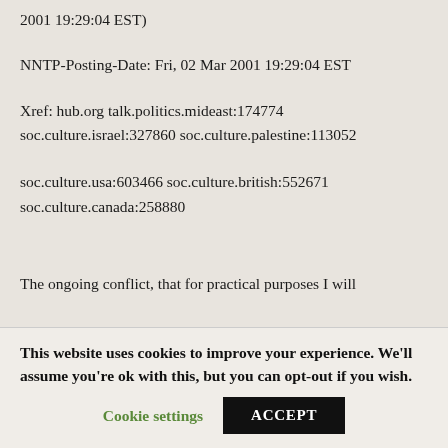2001 19:29:04 EST)
NNTP-Posting-Date: Fri, 02 Mar 2001 19:29:04 EST
Xref: hub.org talk.politics.mideast:174774 soc.culture.israel:327860 soc.culture.palestine:113052
soc.culture.usa:603466 soc.culture.british:552671 soc.culture.canada:258880
The ongoing conflict, that for practical purposes I will
This website uses cookies to improve your experience. We'll assume you're ok with this, but you can opt-out if you wish.